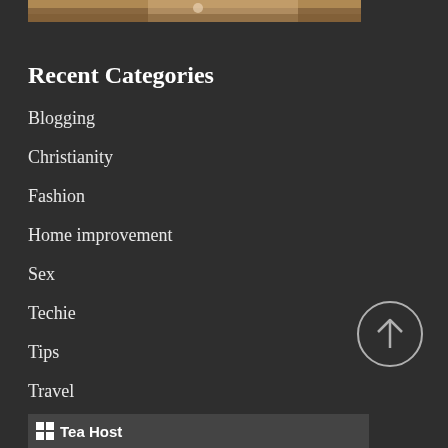[Figure (photo): Partial photo strip at top of page showing a person in a white garment against a wooden/brown background]
Recent Categories
Blogging
Christianity
Fashion
Home improvement
Sex
Techie
Tips
Travel
[Figure (illustration): Circular scroll-to-top button with upward arrow, on the right side]
[Figure (logo): Footer banner showing a grid/windows logo icon and partial text 'Tea Host']